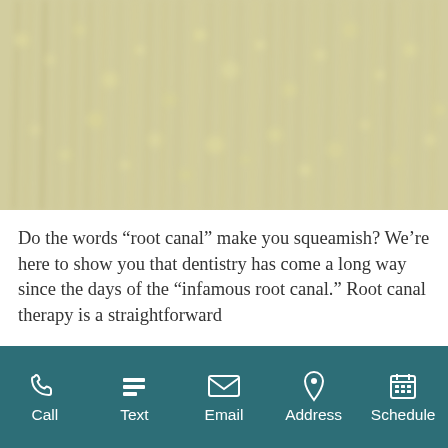[Figure (photo): A blurred field of yellow wildflowers and tall grass, used as a decorative hero background image.]
Do the words “root canal” make you squeamish? We’re here to show you that dentistry has come a long way since the days of the “infamous root canal.” Root canal therapy is a straightforward
Call | Text | Email | Address | Schedule